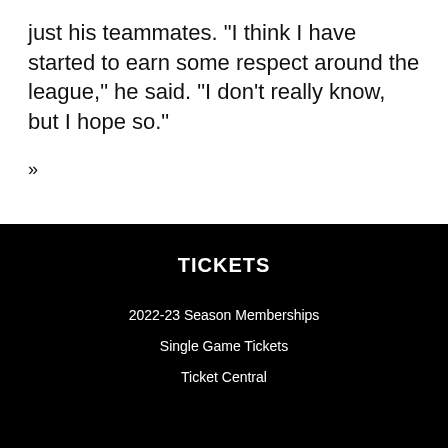just his teammates. "I think I have started to earn some respect around the league," he said. "I don't really know, but I hope so."
»
TICKETS
2022-23 Season Memberships
Single Game Tickets
Ticket Central